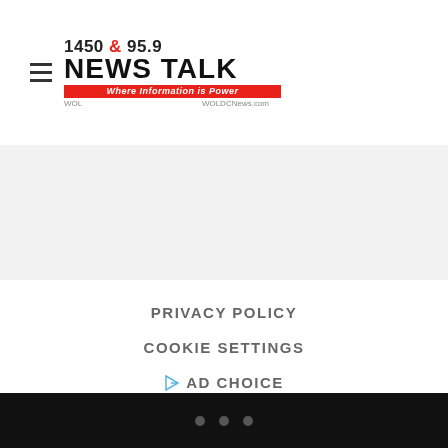[Figure (logo): 1450 & 95.9 News Talk WOL radio station logo with tagline 'Where Information is Power' and WOLDCNews.com]
PRIVACY POLICY
COOKIE SETTINGS
AD CHOICE
ADVERTISE WITH US
TERMS OF SERVICE
FCC PUBLIC FILE
WOL-AM FCC APPLICATIONS